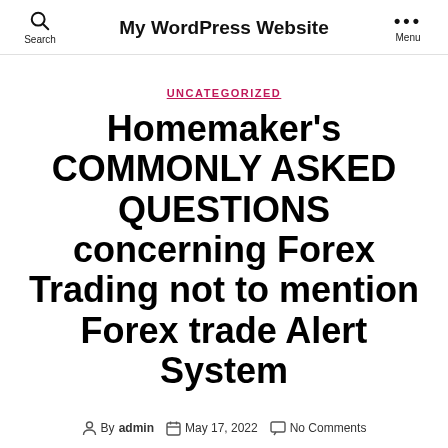My WordPress Website
UNCATEGORIZED
Homemaker's COMMONLY ASKED QUESTIONS concerning Forex Trading not to mention Forex trade Alert System
By admin  May 17, 2022  No Comments